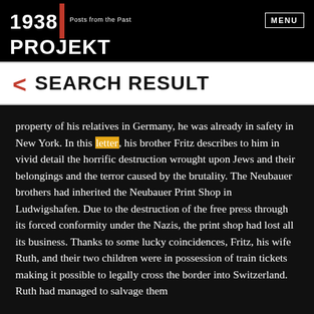1938 PROJEKT Posts from the Past | MENU
< SEARCH RESULT
property of his relatives in Germany, he was already in safety in New York. In this letter, his brother Fritz describes to him in vivid detail the horrific destruction wrought upon Jews and their belongings and the terror caused by the brutality. The Neubauer brothers had inherited the Neubauer Print Shop in Ludwigshafen. Due to the destruction of the free press through its forced conformity under the Nazis, the print shop had lost all its business. Thanks to some lucky coincidences, Fritz, his wife Ruth, and their two children were in possession of train tickets making it possible to legally cross the border into Switzerland. Ruth had managed to salvage them